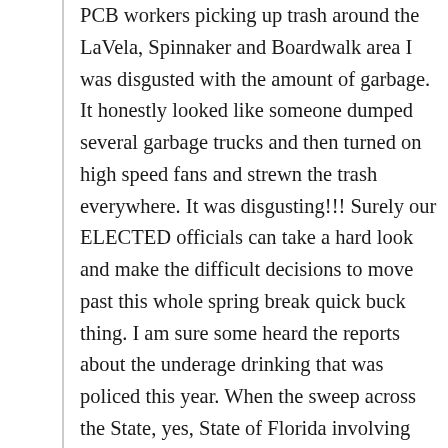PCB workers picking up trash around the LaVela, Spinnaker and Boardwalk area I was disgusted with the amount of garbage. It honestly looked like someone dumped several garbage trucks and then turned on high speed fans and strewn the trash everywhere. It was disgusting!!! Surely our ELECTED officials can take a hard look and make the difficult decisions to move past this whole spring break quick buck thing. I am sure some heard the reports about the underage drinking that was policed this year. When the sweep across the State, yes, State of Florida involving under age drinking and somewhere in the neighborhood of 850 of the approx. 1100 arrests made happened right here in our beloved town, we have a problem.